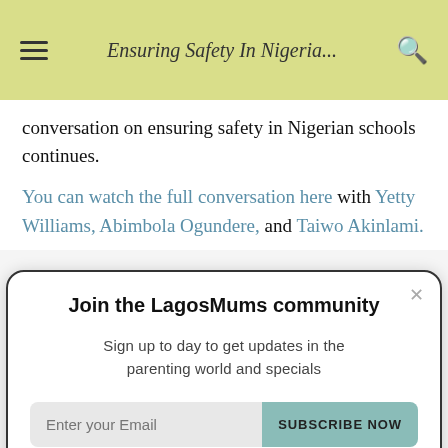Ensuring Safety In Nigeria...
conversation on ensuring safety in Nigerian schools continues.
You can watch the full conversation here with Yetty Williams, Abimbola Ogundere, and Taiwo Akinlami.
Join the LagosMums community
Sign up today to get updates in the parenting world and specials
Enter your Email  SUBSCRIBE NOW
More please